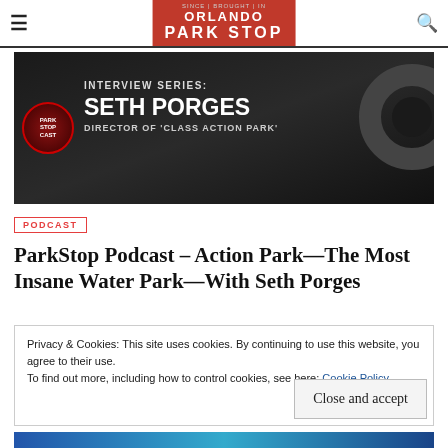Orlando ParkStop
[Figure (illustration): Interview Series banner with Seth Porges, Director of 'Class Action Park'. Dark background with large white bold text and podcast logo icon on left, tire illustration on right.]
PODCAST
ParkStop Podcast – Action Park—The Most Insane Water Park—With Seth Porges
Privacy & Cookies: This site uses cookies. By continuing to use this website, you agree to their use.
To find out more, including how to control cookies, see here: Cookie Policy
Close and accept